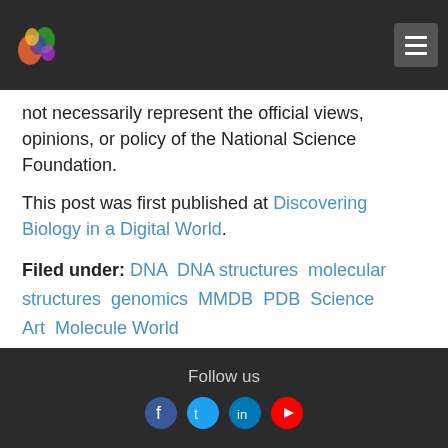[Logo] [Hamburger menu]
not necessarily represent the official views, opinions, or policy of the National Science Foundation.
This post was first published at Discovering Biology in a Digital World.
Filed under: DNA  DNA structures  molecular structures  genomics  MMDB  PDB  Science Art  Molecule World
[Figure (other): Download on the App Store button]
Follow us